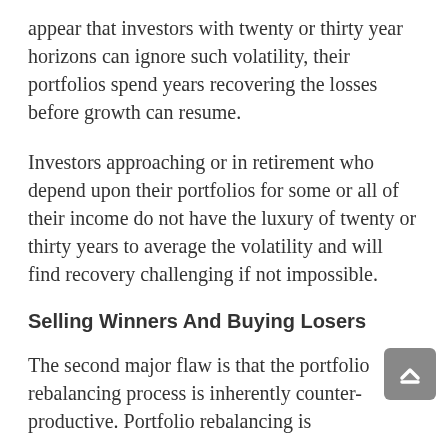appear that investors with twenty or thirty year horizons can ignore such volatility, their portfolios spend years recovering the losses before growth can resume.
Investors approaching or in retirement who depend upon their portfolios for some or all of their income do not have the luxury of twenty or thirty years to average the volatility and will find recovery challenging if not impossible.
Selling Winners And Buying Losers
The second major flaw is that the portfolio rebalancing process is inherently counter-productive. Portfolio rebalancing is